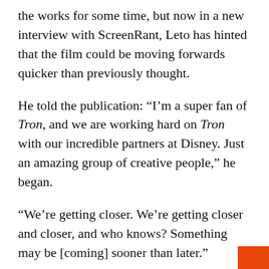the works for some time, but now in a new interview with ScreenRant, Leto has hinted that the film could be moving forwards quicker than previously thought.
He told the publication: “I’m a super fan of Tron, and we are working hard on Tron with our incredible partners at Disney. Just an amazing group of creative people,” he began.
“We’re getting closer. We’re getting closer and closer, and who knows? Something may be [coming] sooner than later.”